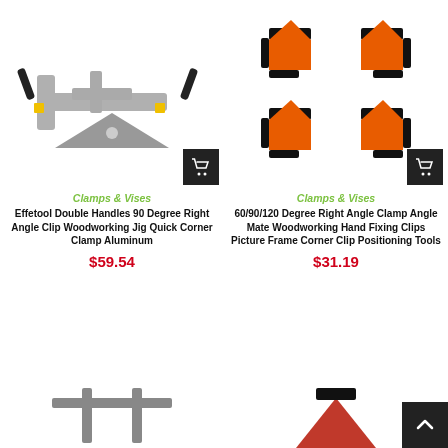[Figure (photo): Gray aluminum 90-degree right angle corner clamp with black handles and yellow accents]
[Figure (photo): Set of orange and black 60/90/120 degree right angle clamps/clips for picture frames and woodworking]
Clamps & Vises
Effetool Double Handles 90 Degree Right Angle Clip Woodworking Jig Quick Corner Clamp Aluminum
$59.54
Clamps & Vises
60/90/120 Degree Right Angle Clamp Angle Mate Woodworking Hand Fixing Clips Picture Frame Corner Clip Positioning Tools
$31.19
[Figure (photo): Partially visible clamp product at bottom left]
[Figure (photo): Partially visible orange/red clamp product at bottom right]